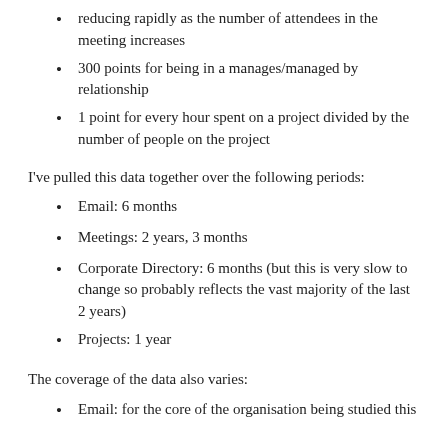reducing rapidly as the number of attendees in the meeting increases
300 points for being in a manages/managed by relationship
1 point for every hour spent on a project divided by the number of people on the project
I've pulled this data together over the following periods:
Email: 6 months
Meetings: 2 years, 3 months
Corporate Directory: 6 months (but this is very slow to change so probably reflects the vast majority of the last 2 years)
Projects: 1 year
The coverage of the data also varies:
Email: for the core of the organisation being studied this